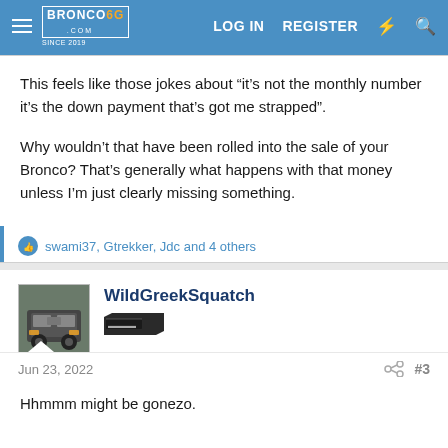BRONCO6G.COM SINCE 2019 | LOG IN | REGISTER
This feels like those jokes about “it’s not the monthly number it’s the down payment that’s got me strapped”.
Why wouldn’t that have been rolled into the sale of your Bronco? That’s generally what happens with that money unless I’m just clearly missing something.
👍 swami37, Gtrekker, Jdc and 4 others
WildGreekSquatch
Jun 23, 2022
#3
Hhmmm might be gonezo.